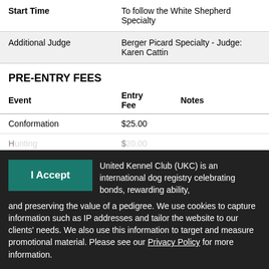|  |  |
| --- | --- |
| Start Time | To follow the White Shepherd Specialty |
| Additional Judge | Berger Picard Specialty - Judge: Karen Cattin |
PRE-ENTRY FEES
| Event | Entry Fee | Notes |
| --- | --- | --- |
| Conformation | $25.00 |  |
| [partial] | $[partial] |  |
I Accept
United Kennel Club (UKC) is an international dog registry celebrating bonds, rewarding ability, and preserving the value of a pedigree. We use cookies to capture information such as IP addresses and tailor the website to our clients' needs. We also use this information to target and measure promotional material. Please see our Privacy Policy for more information.